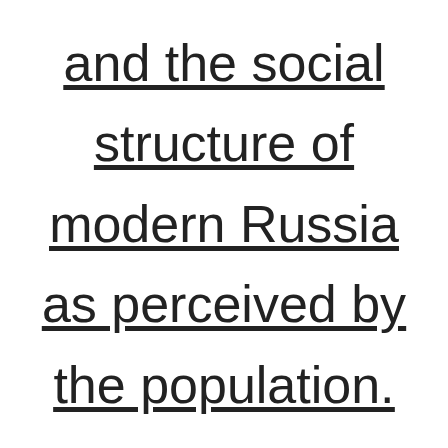and the social structure of modern Russia as perceived by the population.